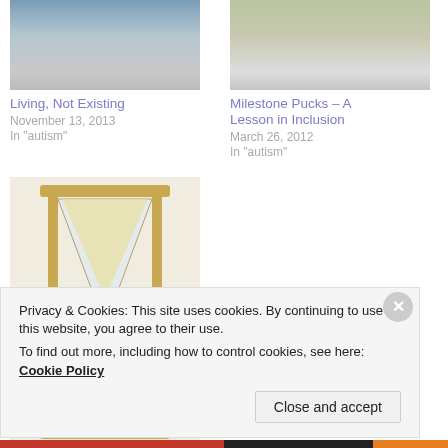[Figure (photo): Photo of people at a stadium, partial view]
Living, Not Existing
November 13, 2013
In "autism"
[Figure (photo): Photo of a person in a black shirt]
Milestone Pucks – A Lesson in Inclusion
March 26, 2012
In "autism"
[Figure (photo): Photo of an hourglass]
A Hockey Family
April 9, 2012
Privacy & Cookies: This site uses cookies. By continuing to use this website, you agree to their use.
To find out more, including how to control cookies, see here: Cookie Policy
Close and accept